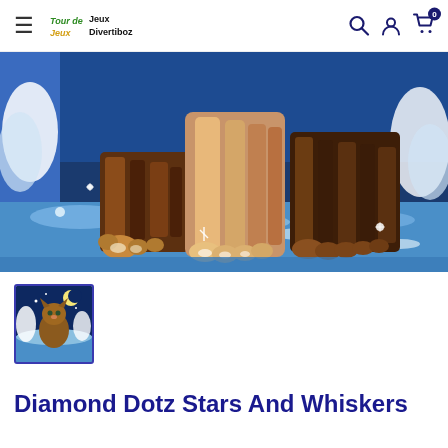≡ Tour de Jeux  Jeux Divertiboz  [search icon] [user icon] [cart icon] 0
[Figure (photo): Close-up diamond dotz craft image showing a tabby cat's paws and lower body standing on icy/snowy blue surface with a winter snowy background scene, pixelated mosaic art style]
[Figure (photo): Thumbnail image of the Diamond Dotz Stars And Whiskers product showing a tabby cat sitting in a snowy winter night scene with stars and moon]
Diamond Dotz Stars And Whiskers